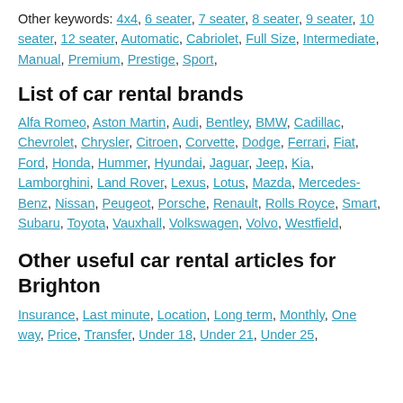Other keywords: 4x4, 6 seater, 7 seater, 8 seater, 9 seater, 10 seater, 12 seater, Automatic, Cabriolet, Full Size, Intermediate, Manual, Premium, Prestige, Sport,
List of car rental brands
Alfa Romeo, Aston Martin, Audi, Bentley, BMW, Cadillac, Chevrolet, Chrysler, Citroen, Corvette, Dodge, Ferrari, Fiat, Ford, Honda, Hummer, Hyundai, Jaguar, Jeep, Kia, Lamborghini, Land Rover, Lexus, Lotus, Mazda, Mercedes-Benz, Nissan, Peugeot, Porsche, Renault, Rolls Royce, Smart, Subaru, Toyota, Vauxhall, Volkswagen, Volvo, Westfield,
Other useful car rental articles for Brighton
Insurance, Last minute, Location, Long term, Monthly, One way, Price, Transfer, Under 18, Under 21, Under 25,